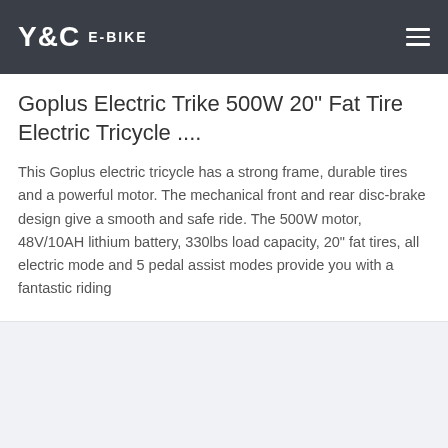Y&C E-BIKE
Goplus Electric Trike 500W 20'' Fat Tire Electric Tricycle ....
This Goplus electric tricycle has a strong frame, durable tires and a powerful motor. The mechanical front and rear disc-brake design give a smooth and safe ride. The 500W motor, 48V/10AH lithium battery, 330lbs load capacity, 20" fat tires, all electric mode and 5 pedal assist modes provide you with a fantastic riding